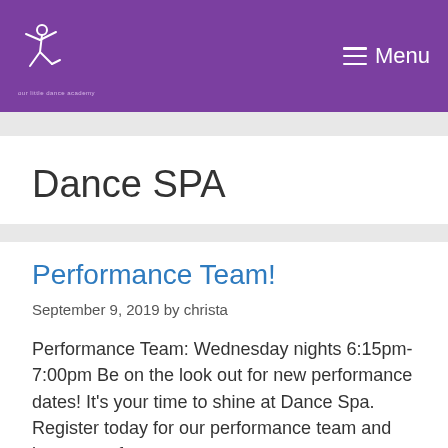☰ Menu
Dance SPA
Performance Team!
September 9, 2019 by christa
Performance Team: Wednesday nights 6:15pm-7:00pm Be on the look out for new performance dates! It's your time to shine at Dance Spa. Register today for our performance team and be a part of